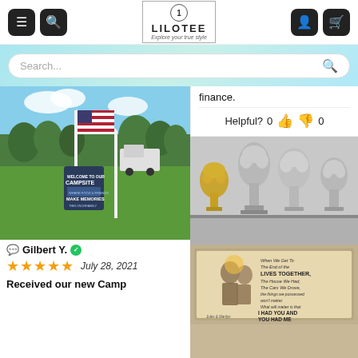[Figure (screenshot): Lilotee website header with hamburger menu, search icon, logo, user icon, and cart icon]
[Figure (screenshot): Search bar on banner background with snowflake decorations]
finance.
Helpful? 0 👍 👎 0
[Figure (photo): Outdoor campsite with American flag and Welcome to Our Campsite garden flag on PVC poles in green lawn with trees and truck in background]
Gilbert Y. ✅
★★★★★  July 28, 2021
Received our new Camp
[Figure (photo): Four silver trophy cups on a shelf]
[Figure (photo): Framed plaque with text: When We Get To The End of the LIVES TOGETHER, The House We Had, The Cars We Drove, The things we possessed won't matter. What will matter is that I HAD YOU AND YOU HAD ME - Jules & Marilyn]